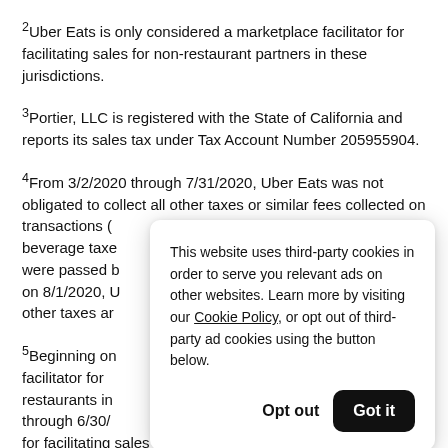²Uber Eats is only considered a marketplace facilitator for facilitating sales for non-restaurant partners in these jurisdictions.
³Portier, LLC is registered with the State of California and reports its sales tax under Tax Account Number 205955904.
⁴From 3/2/2020 through 7/31/2020, Uber Eats was not obligated to collect all other taxes or similar fees collected on transactions ( beverage taxe were passed b on 8/1/2020, U other taxes ar
⁵Beginning on facilitator for restaurants in through 6/30/ for facilitating sales for all partners.
This website uses third-party cookies in order to serve you relevant ads on other websites. Learn more by visiting our Cookie Policy, or opt out of third-party ad cookies using the button below.